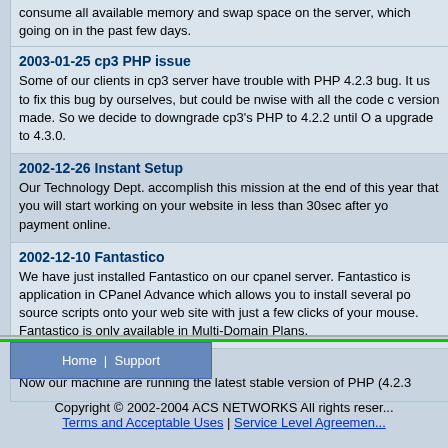consume all available memory and swap space on the server, which going on in the past few days.
2003-01-25 cp3 PHP issue
Some of our clients in cp3 server have trouble with PHP 4.2.3 bug. It us to fix this bug by ourselves, but could be nwise with all the code c version made. So we decide to downgrade cp3's PHP to 4.2.2 until O a upgrade to 4.3.0.
2002-12-26 Instant Setup
Our Technology Dept. accomplish this mission at the end of this year that you will start working on your website in less than 30sec after yo payment online.
2002-12-10 Fantastico
We have just installed Fantastico on our cpanel server. Fantastico is application in CPanel Advance which allows you to install several po source scripts onto your web site with just a few clicks of your mouse. Fantastico is only available in Multi-Domain Plans.
2002-11-26 PHP Upgrade
Now our machine are running the latest stable version of PHP (4.2.3
Home | Support
Copyright © 2002-2004 ACS NETWORKS All rights reserved. Terms and Acceptable Uses | Service Level Agreement